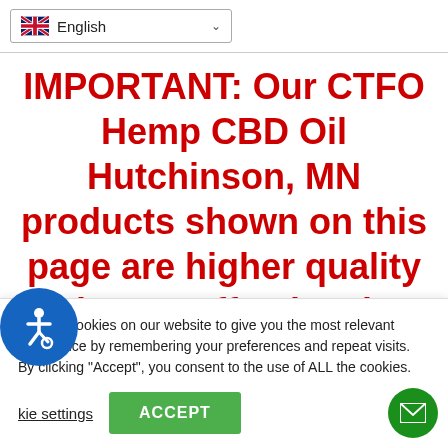English
IMPORTANT: Our CTFO Hemp CBD Oil Hutchinson, MN products shown on this page are higher quality and more effective than products you will find at your local CBD dispensary, “smoke shop” or local CBD store
We use cookies on our website to give you the most relevant experience by remembering your preferences and repeat visits. By clicking “Accept”, you consent to the use of ALL the cookies.
Cookie settings  ACCEPT